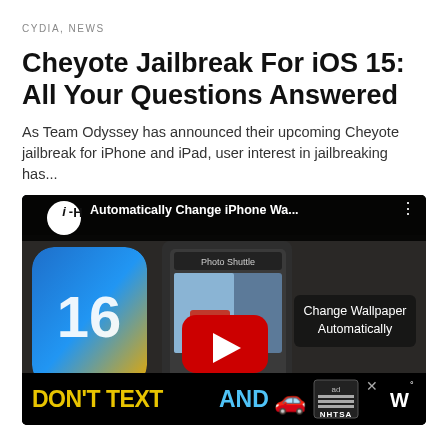CYDIA, NEWS
Cheyote Jailbreak For iOS 15: All Your Questions Answered
As Team Odyssey has announced their upcoming Cheyote jailbreak for iPhone and iPad, user interest in jailbreaking has...
[Figure (screenshot): YouTube video thumbnail showing 'Automatically Change iPhone Wa...' with iOS 16 icon, a phone in hand showing Photo Shuffle, a red YouTube play button, and text 'Change Wallpaper Automatically'. Below is an ad banner reading 'DON'T TEXT AND' with a car emoji and NHTSA branding.]